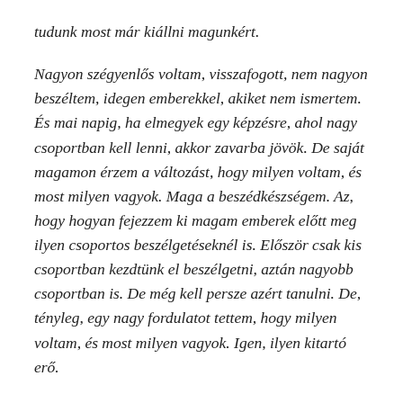tudunk most már kiállni magunkért.
Nagyon szégyenlős voltam, visszafogott, nem nagyon beszéltem, idegen emberekkel, akiket nem ismertem. És mai napig, ha elmegyek egy képzésre, ahol nagy csoportban kell lenni, akkor zavarba jövök. De saját magamon érzem a változást, hogy milyen voltam, és most milyen vagyok. Maga a beszédkészségem. Az, hogy hogyan fejezzem ki magam emberek előtt meg ilyen csoportos beszélgetéseknél is. Először csak kis csoportban kezdtünk el beszélgetni, aztán nagyobb csoportban is. De még kell persze azért tanulni. De, tényleg, egy nagy fordulatot tettem, hogy milyen voltam, és most milyen vagyok. Igen, ilyen kitartó erő.
Ahogy a fentiekből kitűnik, az elbeszélők sokféle perspektívából néztek rá a BAGázs hatására, reprezentálták a saját és a telepi közösség